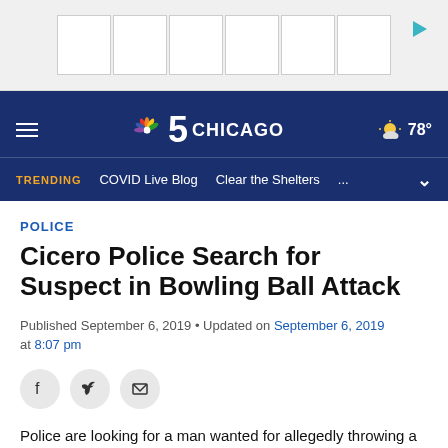[Figure (screenshot): Advertisement banner with 6 white boxes and a play button arrow in teal]
NBC 5 Chicago • 78°
TRENDING  COVID Live Blog  Clear the Shelters  ...
POLICE
Cicero Police Search for Suspect in Bowling Ball Attack
Published September 6, 2019 • Updated on September 6, 2019 at 8:07 pm
[Figure (illustration): Social sharing icons: Facebook, Twitter, Email]
Police are looking for a man wanted for allegedly throwing a